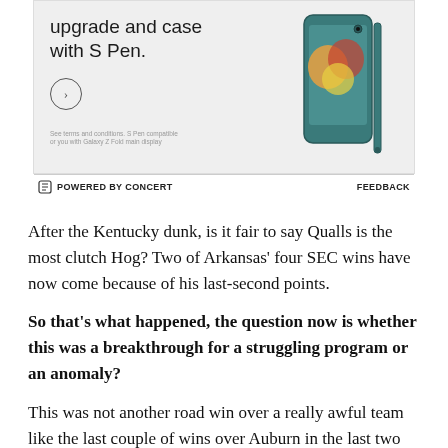[Figure (advertisement): Samsung Galaxy Z Fold advertisement showing phone with S Pen case, with circle arrow button and fine print text]
POWERED BY CONCERT   FEEDBACK
After the Kentucky dunk, is it fair to say Qualls is the most clutch Hog? Two of Arkansas' four SEC wins have now come because of his last-second points.
So that's what happened, the question now is whether this was a breakthrough for a struggling program or an anomaly?
This was not another road win over a really awful team like the last couple of wins over Auburn in the last two seasons. Vanderbilt's RPI is 66. It's the Hogs first RPI win over an RPI top 100 program in probably four